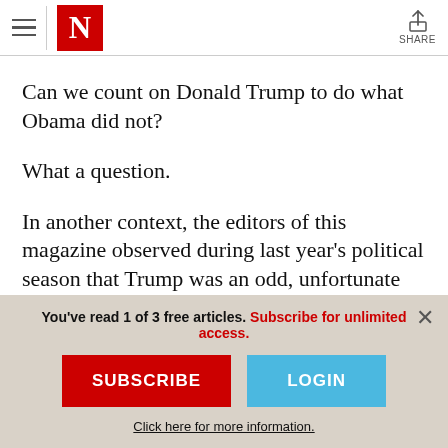The Nation — navigation header with hamburger menu, N logo, and Share button
Can we count on Donald Trump to do what Obama did not?
What a question.
In another context, the editors of this magazine observed during last year's political season that Trump was an odd, unfortunate
You've read 1 of 3 free articles. Subscribe for unlimited access.
SUBSCRIBE
LOGIN
Click here for more information.